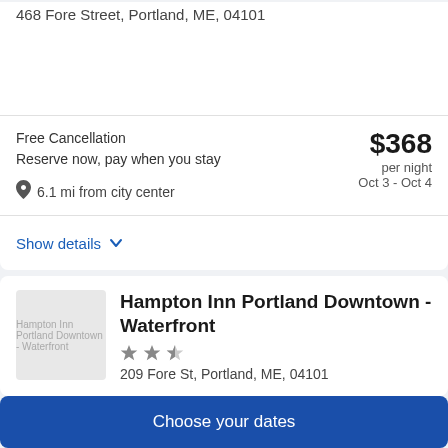Harbor Hotel — 468 Fore Street, Portland, ME, 04101
Free Cancellation
Reserve now, pay when you stay
6.1 mi from city center
$368 per night Oct 3 - Oct 4
Show details
Hampton Inn Portland Downtown - Waterfront
★★½
209 Fore St, Portland, ME, 04101
Choose your dates